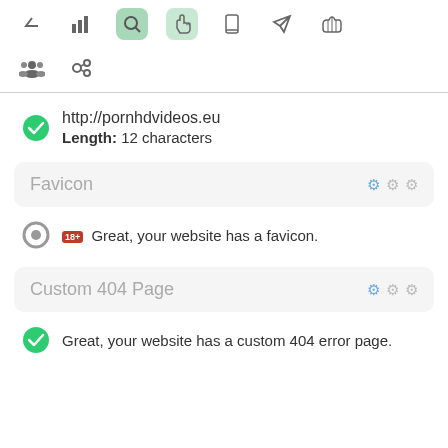[Figure (screenshot): Toolbar with navigation icons including up arrow, bar chart, search (active green), hand pointer (active light green), mobile, rocket, thumbs up]
[Figure (screenshot): Second toolbar row with group/people icon and chain/link icon]
http://pornhdvideos.eu
Length: 12 characters
Favicon
Great, your website has a favicon.
Custom 404 Page
Great, your website has a custom 404 error page.